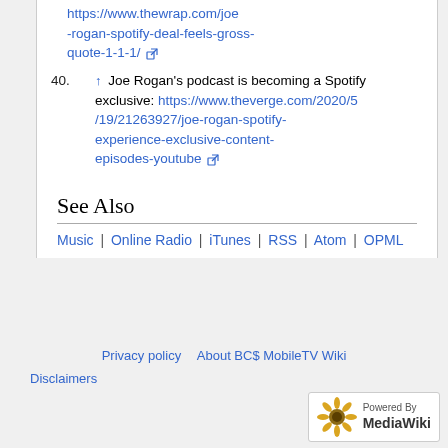https://www.thewrap.com/joe-rogan-spotify-deal-feels-gross-quote-1-1-1/ [external link]
40. ↑ Joe Rogan's podcast is becoming a Spotify exclusive: https://www.theverge.com/2020/5/19/21263927/joe-rogan-spotify-experience-exclusive-content-episodes-youtube [external link]
See Also
Music | Online Radio | iTunes | RSS | Atom | OPML
Privacy policy   About BC$ MobileTV Wiki   Disclaimers